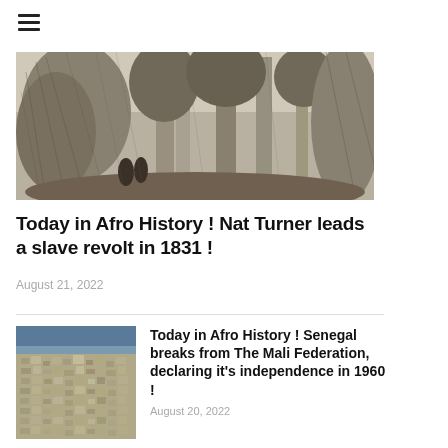[Figure (illustration): Black and white engraving illustration showing trees and figures in a forest scene]
Today in Afro History ! Nat Turner leads a slave revolt in 1831 !
August 21, 2022
[Figure (photo): Aerial photograph of a dense coastal city, likely Dakar, Senegal, showing buildings and the ocean]
Today in Afro History ! Senegal breaks from The Mali Federation, declaring it's independence in 1960 !
August 20, 2022